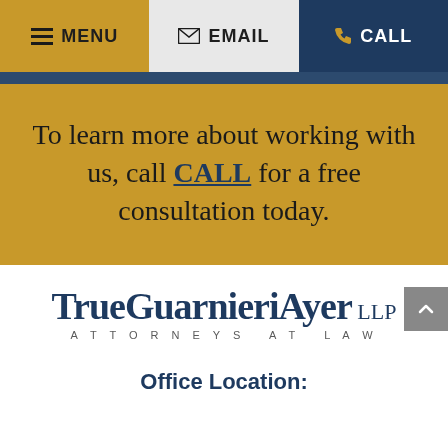MENU | EMAIL | CALL
To learn more about working with us, call CALL for a free consultation today.
[Figure (logo): TrueGuarnieriAyer LLP Attorneys at Law logo]
Office Location: